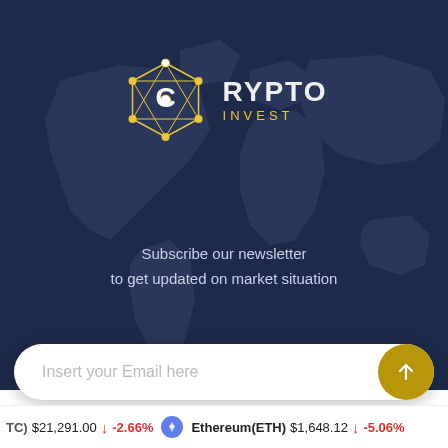[Figure (logo): Crypto Invest logo with hexagonal network graphic in yellow/white and text 'CRYPTO INVEST' on dark navy background with faint world map]
Subscribe our newsletter
to get updated on market situation
Insert your Email here
(BTC) $21,291.00 ↓ -2.66%   Ethereum(ETH) $1,648.12 ↓ -5.06%